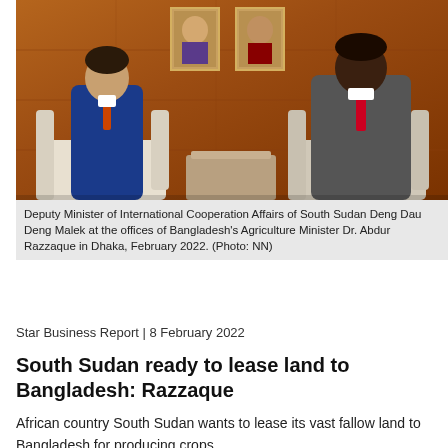[Figure (photo): Two men seated in chairs for a meeting at Bangladesh's Agriculture Minister's office. The man on the left wears a blue suit, the man on the right wears a grey suit with a red tie. Portraits hang on a wooden panelled wall behind them.]
Deputy Minister of International Cooperation Affairs of South Sudan Deng Dau Deng Malek at the offices of Bangladesh's Agriculture Minister Dr. Abdur Razzaque in Dhaka, February 2022. (Photo: NN)
Star Business Report | 8 February 2022
South Sudan ready to lease land to Bangladesh: Razzaque
African country South Sudan wants to lease its vast fallow land to Bangladesh for producing crops.
South Sudan's Deputy Minister for Foreign and International Cooperation Deng Dau Deng